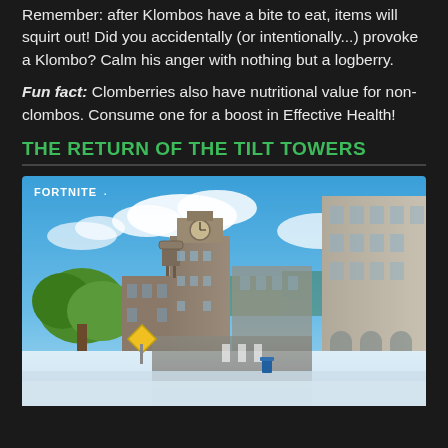Remember: after Klombos have a bite to eat, items will squirt out! Did you accidentally (or intentionally...) provoke a Klombo? Calm his anger with nothing but a logberry.
Fun fact: Clomberries also have nutritional value for non-clombos. Consume one for a boost in Effective Health!
THE RETURN OF THE TILT TOWERS
[Figure (photo): Fortnite game screenshot showing Tilted Towers location with clock tower building, water tower, large stone building on the right, green trees, yellow road sign, blue sky with clouds, and snow on the ground. FORTNITE logo in top left corner.]